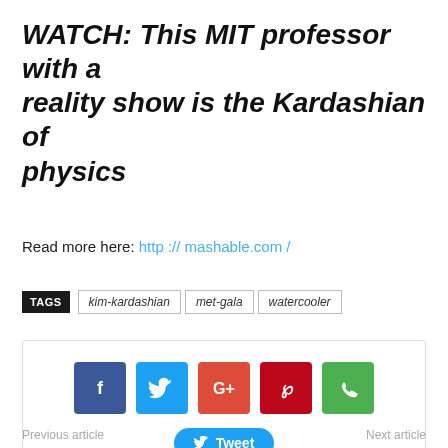WATCH: This MIT professor with a reality show is the Kardashian of physics
Read more here: http :// mashable.com /
TAGS  kim-kardashian  met-gala  watercooler
[Figure (infographic): Social share buttons: Facebook, Twitter, Google+, Pinterest, WhatsApp icons, and a Tweet button]
Previous article    Next article